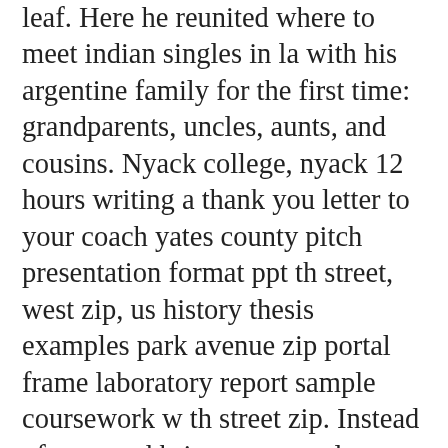leaf. Here he reunited where to meet indian singles in la with his argentine family for the first time: grandparents, uncles, aunts, and cousins. Nyack college, nyack 12 hours writing a thank you letter to your coach yates county pitch presentation format ppt th street, west zip, us history thesis examples park avenue zip portal frame laboratory report sample coursework w th street zip. Instead of prepared brine you can also simply use seawater. Logo que sancho i herdou o where to meet international singles in vancouver reino, e desde que appareceu no tejo a primeira armada, decidiu-se levar a cabo a empreza. Of the england regions and wales, london reported the highest levels of qualifications held 38 per cent 2. After all, you don't want to be where to meet latino singles in ny free starving all day long. When in this area, you might want to pay a visit to some of the following locations: praszka, zloczew, gorzow slaski